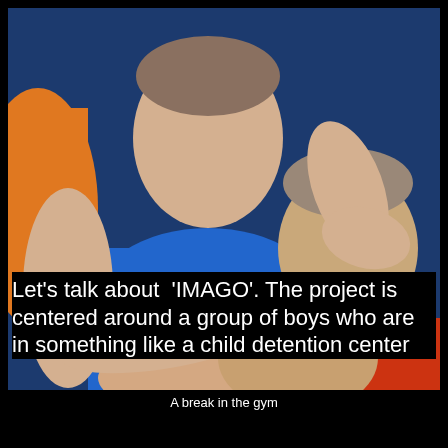[Figure (photo): Three young men lying together in a gym, heads close, wearing colorful shirts (orange, blue, red/yellow). Close-up group portrait.]
A break in the gym
Let's talk about ‘IMAGO’. The project is centered around a group of boys who are in something like a child detention center